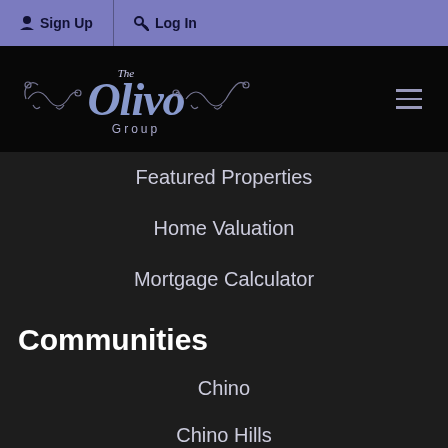Sign Up  Log In
[Figure (logo): The Olivo Group logo with decorative scrollwork on black background]
Featured Properties
Home Valuation
Mortgage Calculator
Communities
Chino
Chino Hills
Ontario
About